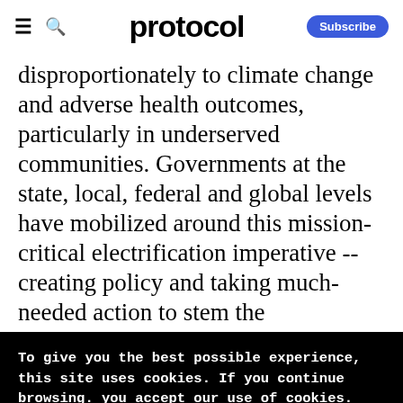protocol | Subscribe
disproportionately to climate change and adverse health outcomes, particularly in underserved communities. Governments at the state, local, federal and global levels have mobilized around this mission-critical electrification imperative -- creating policy and taking much-needed action to stem the
To give you the best possible experience, this site uses cookies. If you continue browsing. you accept our use of cookies. You can review our privacy policy to find out more about the cookies we use.
Accept